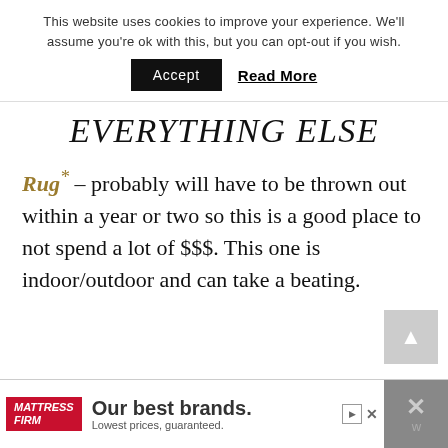This website uses cookies to improve your experience. We'll assume you're ok with this, but you can opt-out if you wish.
Accept  Read More
EVERYTHING ELSE
Rug* – probably will have to be thrown out within a year or two so this is a good place to not spend a lot of $$$. This one is indoor/outdoor and can take a beating.
[Figure (other): Advertisement banner for Mattress Firm: 'Our best brands. Lowest prices, guaranteed.']